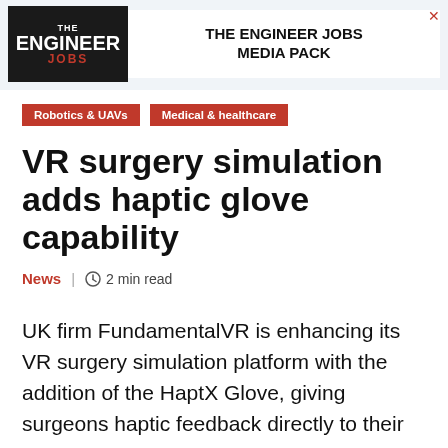[Figure (logo): The Engineer Jobs advertisement banner with logo and 'THE ENGINEER JOBS MEDIA PACK' text]
Robotics & UAVs
Medical & healthcare
VR surgery simulation adds haptic glove capability
News  |  2 min read
UK firm FundamentalVR is enhancing its VR surgery simulation platform with the addition of the HaptX Glove, giving surgeons haptic feedback directly to their hands.